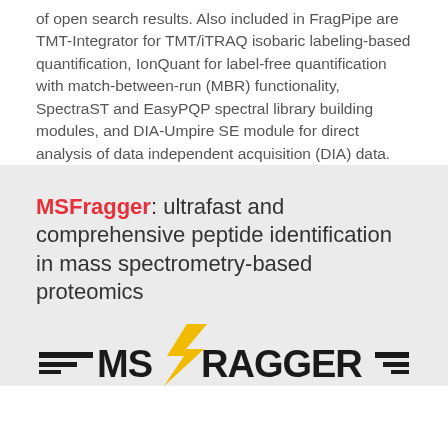of open search results. Also included in FragPipe are TMT-Integrator for TMT/iTRAQ isobaric labeling-based quantification, IonQuant for label-free quantification with match-between-run (MBR) functionality, SpectraST and EasyPQP spectral library building modules, and DIA-Umpire SE module for direct analysis of data independent acquisition (DIA) data.
MSFragger: ultrafast and comprehensive peptide identification in mass spectrometry-based proteomics
[Figure (logo): MSFragger logo with stylized text and lightning bolt in yellow/gold]